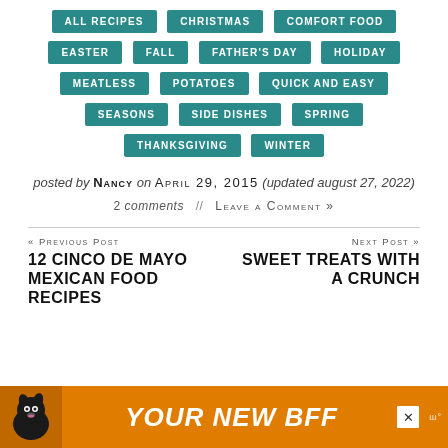ALL RECIPES
CHRISTMAS
COMFORT FOOD
EASTER
FALL
FATHER'S DAY
HOLIDAY
MEATLESS
POTATOES
QUICK AND EASY
SEASONS
SIDE DISHES
SPRING
THANKSGIVING
WINTER
posted by NANCY on APRIL 29, 2015 (updated august 27, 2022)
2 comments // LEAVE A COMMENT »
« PREVIOUS POST
12 CINCO DE MAYO MEXICAN FOOD RECIPES
NEXT POST »
SWEET TREATS WITH A CRUNCH
[Figure (other): Advertisement banner with dog image and text YOUR NEW BFF on orange background]